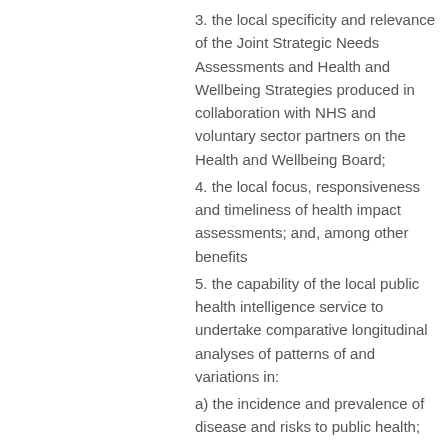3. the local specificity and relevance of the Joint Strategic Needs Assessments and Health and Wellbeing Strategies produced in collaboration with NHS and voluntary sector partners on the Health and Wellbeing Board;
4. the local focus, responsiveness and timeliness of health impact assessments; and, among other benefits
5. the capability of the local public health intelligence service to undertake comparative longitudinal analyses of patterns of and variations in:
a) the incidence and prevalence of disease and risks to public health;
b) demand for and access to treatment and preventative care services;
c) variations in health outcomes between groups in the population;